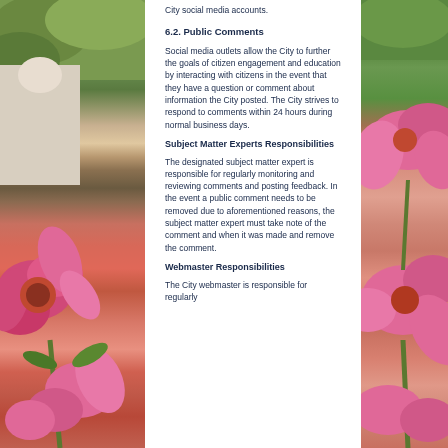City social media accounts.
6.2. Public Comments
Social media outlets allow the City to further the goals of citizen engagement and education by interacting with citizens in the event that they have a question or comment about information the City posted. The City strives to respond to comments within 24 hours during normal business days.
Subject Matter Experts Responsibilities
The designated subject matter expert is responsible for regularly monitoring and reviewing comments and posting feedback. In the event a public comment needs to be removed due to aforementioned reasons, the subject matter expert must take note of the comment and when it was made and remove the comment.
Webmaster Responsibilities
The City webmaster is responsible for regularly